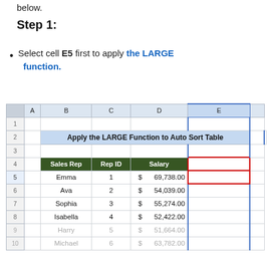below.
Step 1:
Select cell E5 first to apply the LARGE function.
[Figure (screenshot): Excel spreadsheet showing a table titled 'Apply the LARGE Function to Auto Sort Table' with columns Sales Rep, Rep ID, Salary, Remarks. Rows include Emma (1, $69,738.00), Ava (2, $54,039.00), Sophia (3, $55,274.00), Isabella (4, $52,422.00), Harry (5, $51,664.00, faded), Michael (6, $63,782.00, faded). Cell E5 (Remarks column, Emma row) is highlighted with a red border.]